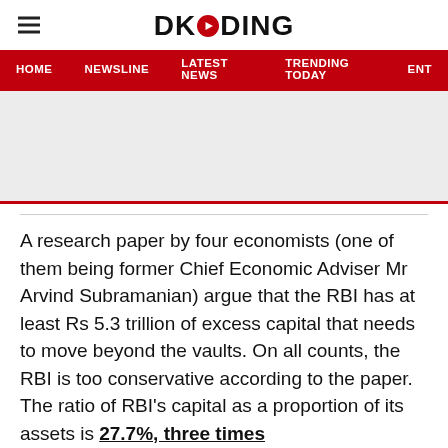DKODING
HOME  NEWSLINE  LATEST NEWS  TRENDING TODAY  ENT
[Figure (other): Advertisement banner placeholder (gray rectangle with red border)]
A research paper by four economists (one of them being former Chief Economic Adviser Mr Arvind Subramanian) argue that the RBI has at least Rs 5.3 trillion of excess capital that needs to move beyond the vaults. On all counts, the RBI is too conservative according to the paper. The ratio of RBI's capital as a proportion of its assets is 27.7%, three times higher than the global median ratio of 8.4%...